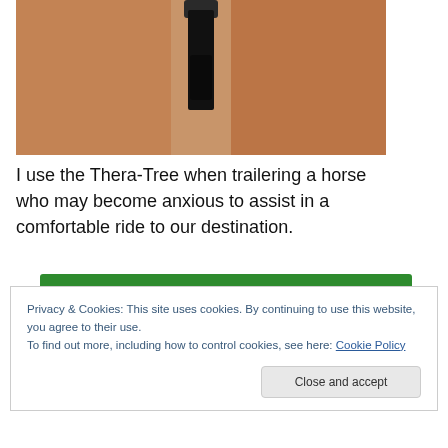[Figure (photo): Close-up photo of a horse wearing a dark black strap/device (Thera-Tree) against its brown skin/coat]
I use the Thera-Tree when trailering a horse who may become anxious to assist in a comfortable ride to our destination.
[Figure (photo): Partially visible green banner at bottom of page behind cookie overlay]
Privacy & Cookies: This site uses cookies. By continuing to use this website, you agree to their use.
To find out more, including how to control cookies, see here: Cookie Policy
Close and accept